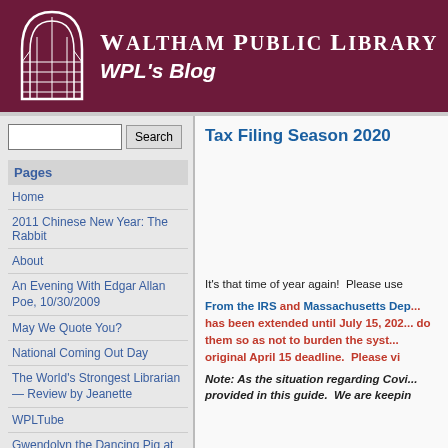WALTHAM PUBLIC LIBRARY — WPL's Blog
Pages
Home
2011 Chinese New Year: The Rabbit
About
An Evening With Edgar Allan Poe, 10/30/2009
May We Quote You?
National Coming Out Day
The World's Strongest Librarian — Review by Jeanette
WPLTube
Gwendolyn the Dancing Pig at the Library
Tax Filing Season 2020
It's that time of year again!  Please use
From the IRS and Massachusetts Dep... has been extended until July 15, 2020... do them so as not to burden the syst... original April 15 deadline.  Please vi...
Note: As the situation regarding Covi... provided in this guide.  We are keepin...